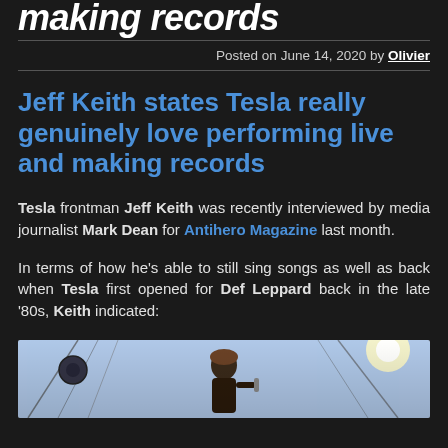making records
Posted on June 14, 2020 by Olivier
Jeff Keith states Tesla really genuinely love performing live and making records
Tesla frontman Jeff Keith was recently interviewed by media journalist Mark Dean for Antihero Magazine last month.
In terms of how he's able to still sing songs as well as back when Tesla first opened for Def Leppard back in the late ‘80s, Keith indicated:
[Figure (photo): Photo of a performer on stage, appearing to be singing into a microphone, with stage rigging visible in the background against a bright sky.]